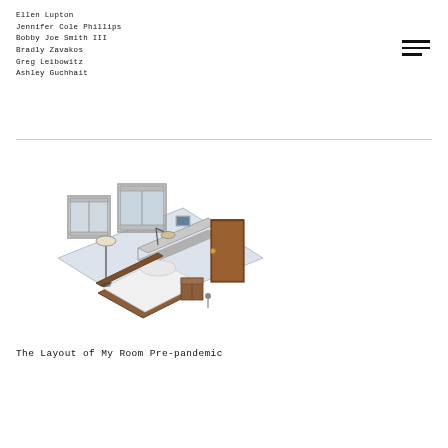Ellen Lupton
Jennifer Cole Phillips
Bobby Joe Smith III
Bradly Zavakos
Greg Leibowitz
Ashley Guchhait
[Figure (illustration): 3D isometric illustration of a bedroom showing two windows on the back wall, a floor lamp, a desk with a lamp, a bed with white bedding and wooden frame, a nightstand, and a brown door on the right side. The room has a light blue/grey floor.]
The Layout of My Room Pre-pandemic